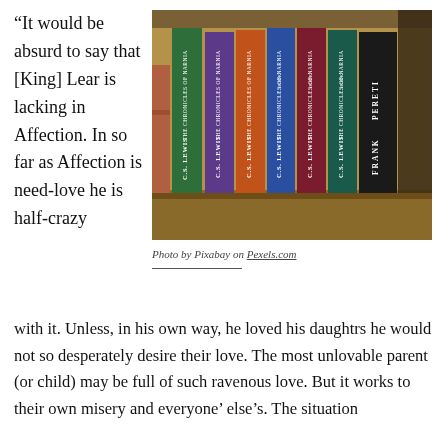“It would be absurd to say that [King] Lear is lacking in Affection. In so far as Affection is need-love he is half-crazy
[Figure (photo): A row of C.S. Lewis Chronicles of Narnia books on a shelf, with colorful spines (green, purple, orange, blue, dark red, teal), along with a Frank Peretti book spine on the right end.]
Photo by Pixabay on Pexels.com
with it. Unless, in his own way, he loved his daughtrs he would not so desperately desire their love. The most unlovable parent (or child) may be full of such ravenous love. But it works to their own misery and everyone’ else’s. The situation